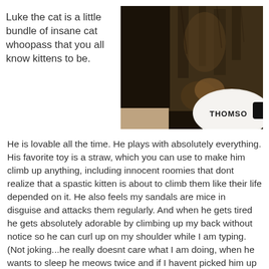Luke the cat is a little bundle of insane cat whoopass that you all know kittens to be.
[Figure (photo): Close-up photo of a tabby cat from above, with a white disc/coaster on a dark surface showing partial text 'THOMSO']
He is lovable all the time. He plays with absolutely everything. His favorite toy is a straw, which you can use to make him climb up anything, including innocent roomies that dont realize that a spastic kitten is about to climb them like their life depended on it. He also feels my sandals are mice in disguise and attacks them regularly. And when he gets tired he gets absolutely adorable by climbing up my back without notice so he can curl up on my shoulder while I am typing. (Not joking...he really doesnt care what I am doing, when he wants to sleep he meows twice and if I havent picked him up he climbs on his own.